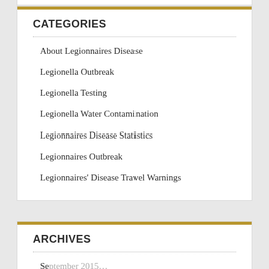CATEGORIES
About Legionnaires Disease
Legionella Outbreak
Legionella Testing
Legionella Water Contamination
Legionnaires Disease Statistics
Legionnaires Outbreak
Legionnaires' Disease Travel Warnings
ARCHIVES